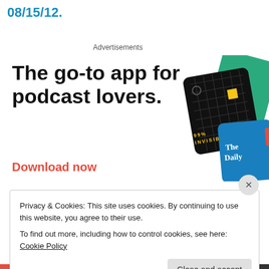08/15/12.
Advertisements
[Figure (illustration): Pocket Casts advertisement showing 'The go-to app for podcast lovers.' with a Download now call-to-action in red, Pocket Casts logo, and podcast app cards (99% Invisible, The Daily, wbur, On Being) in the background.]
Privacy & Cookies: This site uses cookies. By continuing to use this website, you agree to their use.
To find out more, including how to control cookies, see here: Cookie Policy
Close and accept